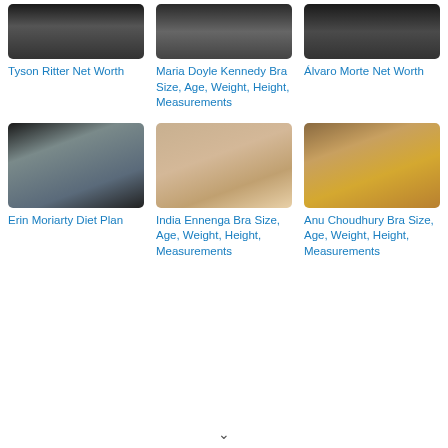[Figure (photo): Tyson Ritter photo thumbnail (cropped face, dark background)]
Tyson Ritter Net Worth
[Figure (photo): Maria Doyle Kennedy photo thumbnail (cropped face)]
Maria Doyle Kennedy Bra Size, Age, Weight, Height, Measurements
[Figure (photo): Álvaro Morte photo thumbnail (cropped face)]
Álvaro Morte Net Worth
[Figure (photo): Erin Moriarty photo thumbnail - blonde woman holding microphone, dark background]
Erin Moriarty Diet Plan
[Figure (photo): India Ennenga photo thumbnail - young woman with brown hair]
India Ennenga Bra Size, Age, Weight, Height, Measurements
[Figure (photo): Anu Choudhury photo thumbnail - woman in yellow sari with earrings]
Anu Choudhury Bra Size, Age, Weight, Height, Measurements